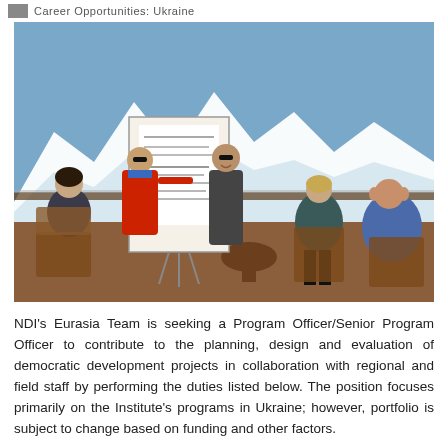Career Opportunities: Ukraine
[Figure (photo): Group of five people in an outdoor setting with snow-capped mountains in background. One person in a red sweater is pointing at a whiteboard/flipchart while others sit and stand around listening.]
NDI's Eurasia Team is seeking a Program Officer/Senior Program Officer to contribute to the planning, design and evaluation of democratic development projects in collaboration with regional and field staff by performing the duties listed below. The position focuses primarily on the Institute's programs in Ukraine; however, portfolio is subject to change based on funding and other factors.